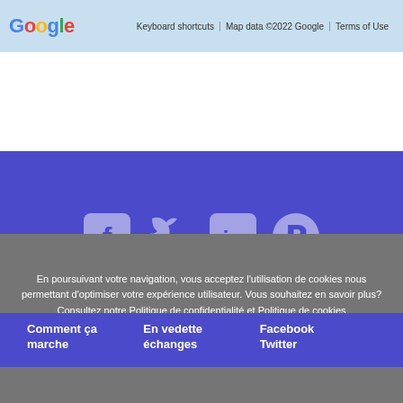Google | Keyboard shortcuts | Map data ©2022 Google | Terms of Use
[Figure (screenshot): White Google Maps area]
[Figure (illustration): Social media icons: Facebook, Twitter, LinkedIn, Pinterest on purple background]
Comment ça marche
En vedette échanges
Facebook
Twitter
En poursuivant votre navigation, vous acceptez l'utilisation de cookies nous permettant d'optimiser votre expérience utilisateur. Vous souhaitez en savoir plus? Consultez notre Politique de confidentialité et Politique de cookies
J'accepte